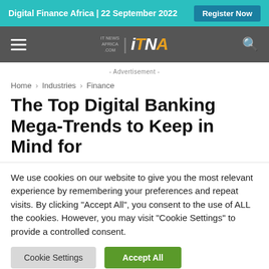Digital Finance Africa | 22 September 2022   Register Now
[Figure (logo): IT News Africa ITNA logo with hamburger menu and search icon on dark grey navigation bar]
- Advertisement -
Home › Industries › Finance
The Top Digital Banking Mega-Trends to Keep in Mind for
We use cookies on our website to give you the most relevant experience by remembering your preferences and repeat visits. By clicking "Accept All", you consent to the use of ALL the cookies. However, you may visit "Cookie Settings" to provide a controlled consent.
Cookie Settings   Accept All